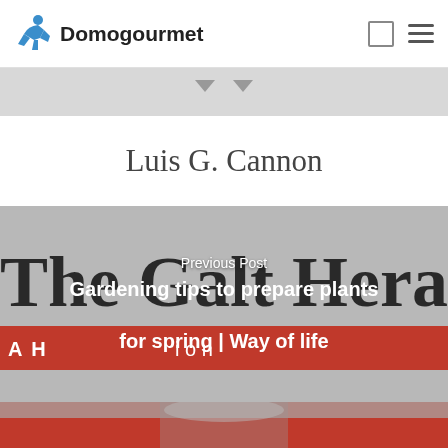Domogourmet
Luis G. Cannon
[Figure (photo): Newspaper front page of The Galt Herald with red banner reading 'A H...ion', overlaid with post navigation text]
Previous Post
Gardening tips to prepare plants for spring | Way of life
[Figure (photo): Bottom strip showing a crowd scene with red background, partially visible person]